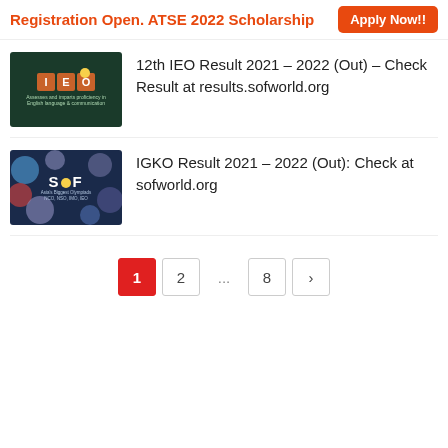Registration Open. ATSE 2022 Scholarship  Apply Now!!
[Figure (screenshot): IEO logo on dark green background with text: Assesses and imparts proficiency in English language & communication]
12th IEO Result 2021 – 2022 (Out) – Check Result at results.sofworld.org
[Figure (screenshot): SOF logo on dark blue background with colourful circles. Text: Asia's Biggest Olympiads NCO, NSO, IMO, IEO]
IGKO Result 2021 – 2022 (Out): Check at sofworld.org
1
2
...
8
›